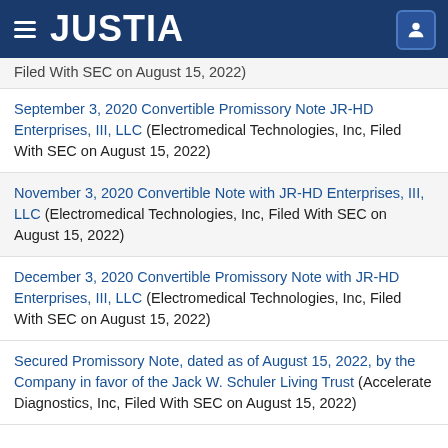JUSTIA
Filed With SEC on August 15, 2022)
September 3, 2020 Convertible Promissory Note JR-HD Enterprises, III, LLC (Electromedical Technologies, Inc, Filed With SEC on August 15, 2022)
November 3, 2020 Convertible Note with JR-HD Enterprises, III, LLC (Electromedical Technologies, Inc, Filed With SEC on August 15, 2022)
December 3, 2020 Convertible Promissory Note with JR-HD Enterprises, III, LLC (Electromedical Technologies, Inc, Filed With SEC on August 15, 2022)
Secured Promissory Note, dated as of August 15, 2022, by the Company in favor of the Jack W. Schuler Living Trust (Accelerate Diagnostics, Inc, Filed With SEC on August 15, 2022)